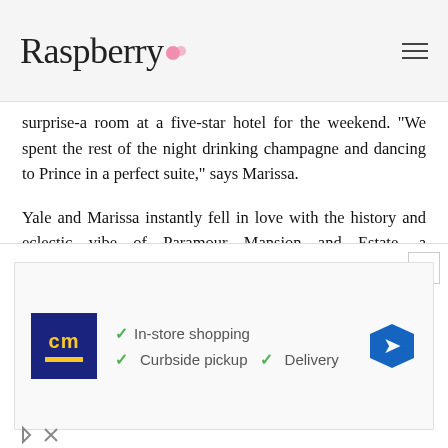Raspberry
surprise-a room at a five-star hotel for the weekend. "We spent the rest of the night drinking champagne and dancing to Prince in a perfect suite," says Marissa.
Yale and Marissa instantly fell in love with the history and eclectic vibe of Paramour Mansion and Estate, a Mediterranean revival property built in 1923 that's close to their home in Los Angeles. The couple wanted to keep in line with space's history and enhanced its unconventional glamour
[Figure (infographic): Advertisement banner with CM store logo, checkmarks for In-store shopping, Curbside pickup, and Delivery, with navigation icon]